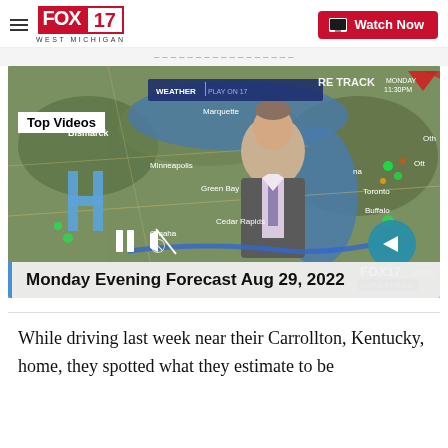FOX 17 WEST MICHIGAN — Watch Now
[Figure (screenshot): Video thumbnail showing a TV meteorologist standing in front of a weather map of the Great Lakes region with radar overlay. Cities visible include Bismarck, Marquette, Minneapolis, Green Bay, Cedar Rapids, Omaha, Toronto, Buffalo. Top Videos label overlaid. Pause button and mute icon visible. Teal arrow button on right. FOX 17 watermark. WEATHER TRACK banner at top. Monday 11:30PM text.]
Monday Evening Forecast Aug 29, 2022
While driving last week near their Carrollton, Kentucky, home, they spotted what they estimate to be